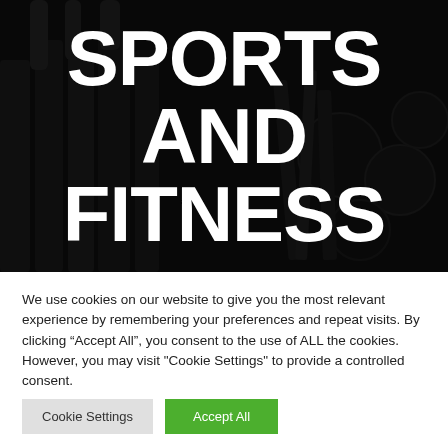[Figure (photo): Dark background photo of makeup brushes and cosmetic products arranged on a surface, overlaid with large white bold text reading SPORTS AND FITNESS]
SPORTS AND FITNESS
We use cookies on our website to give you the most relevant experience by remembering your preferences and repeat visits. By clicking “Accept All”, you consent to the use of ALL the cookies. However, you may visit "Cookie Settings" to provide a controlled consent.